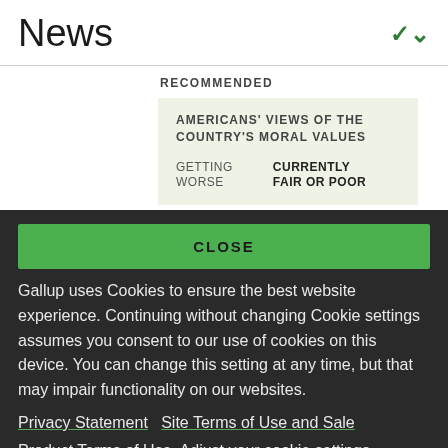News
RECOMMENDED
AMERICANS' VIEWS OF THE COUNTRY'S MORAL VALUES
GETTING WORSE   CURRENTLY FAIR OR POOR
CLOSE
Gallup uses Cookies to ensure the best website experience. Continuing without changing Cookie settings assumes you consent to our use of cookies on this device. You can change this setting at any time, but that may impair functionality on our websites.
Privacy Statement   Site Terms of Use and Sale
Product Terms of Use   Adjust your cookie settings.